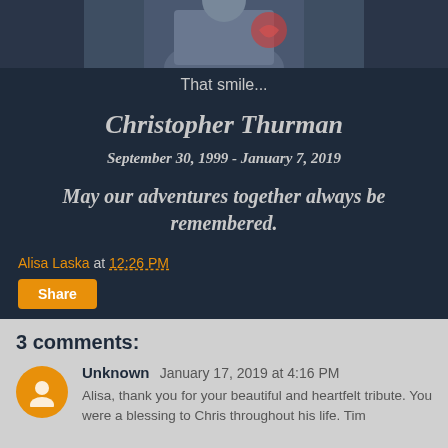[Figure (photo): Partial photo of a person wearing a shirt with a rose graphic, cropped at the top]
That smile...
Christopher Thurman
September 30, 1999 - January 7, 2019
May our adventures together always be remembered.
Alisa Laska at 12:26 PM
Share
3 comments:
Unknown January 17, 2019 at 4:16 PM
Alisa, thank you for your beautiful and heartfelt tribute. You were a blessing to Chris throughout his life. Tim